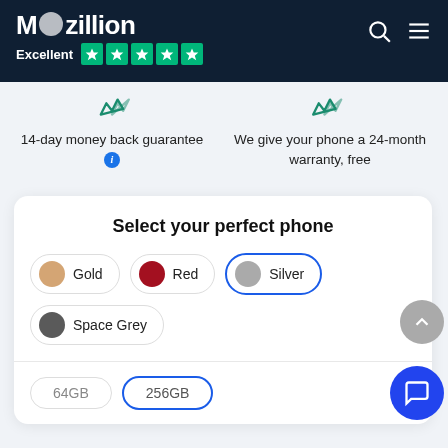Moozillion — Excellent ★★★★★
14-day money back guarantee
We give your phone a 24-month warranty, free
Select your perfect phone
Gold (color option)
Red (color option)
Silver (color option — selected)
Space Grey (color option)
64GB (storage option)
256GB (storage option — selected)